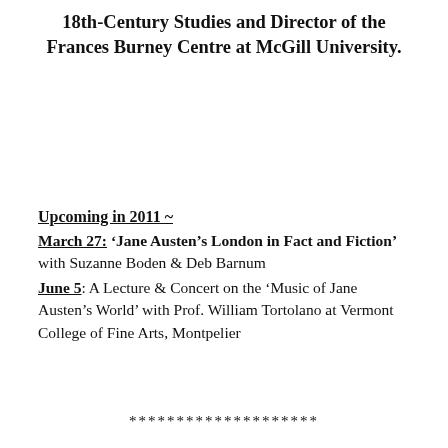18th-Century Studies and Director of the Frances Burney Centre at McGill University.
Upcoming in 2011 ~
March 27: 'Jane Austen's London in Fact and Fiction' with Suzanne Boden & Deb Barnum
June 5: A Lecture & Concert on the 'Music of Jane Austen's World' with Prof. William Tortolano at Vermont College of Fine Arts, Montpelier
********************